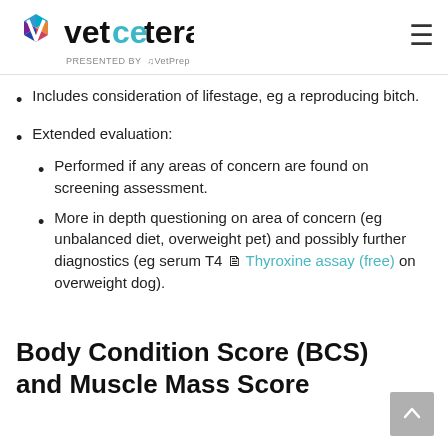vetcetera PRESENTED BY VetPrep
Includes consideration of lifestage, eg a reproducing bitch.
Extended evaluation:
Performed if any areas of concern are found on screening assessment.
More in depth questioning on area of concern (eg unbalanced diet, overweight pet) and possibly further diagnostics (eg serum T4 Thyroxine assay (free) on overweight dog).
Body Condition Score (BCS) and Muscle Mass Score